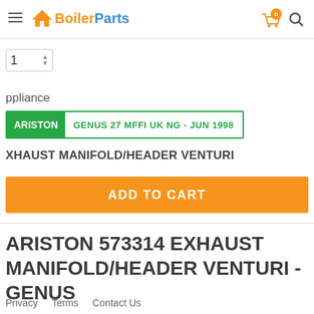BoilerParts
1
ppliance
ARISTON | GENUS 27 MFFI UK NG - JUN 1998
XHAUST MANIFOLD/HEADER VENTURI
ADD TO CART
ARISTON 573314 EXHAUST MANIFOLD/HEADER VENTURI - GENUS
Privacy   Terms   Contact Us